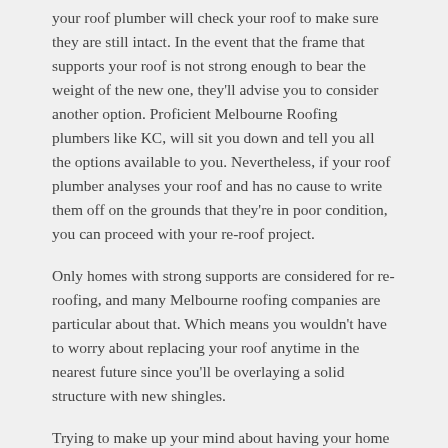your roof plumber will check your roof to make sure they are still intact. In the event that the frame that supports your roof is not strong enough to bear the weight of the new one, they'll advise you to consider another option. Proficient Melbourne Roofing plumbers like KC, will sit you down and tell you all the options available to you. Nevertheless, if your roof plumber analyses your roof and has no cause to write them off on the grounds that they're in poor condition, you can proceed with your re-roof project.
Only homes with strong supports are considered for re-roofing, and many Melbourne roofing companies are particular about that. Which means you wouldn't have to worry about replacing your roof anytime in the nearest future since you'll be overlaying a solid structure with new shingles.
Trying to make up your mind about having your home re-roofed?
Have you been thinking of getting a new roof for your home and you are experiencing some difficulties in making the right decision? Or Do you figure your home may be a decent contender for reroofing?